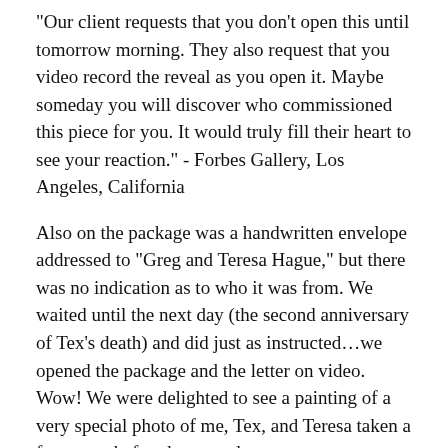“Our client requests that you don’t open this until tomorrow morning. They also request that you video record the reveal as you open it. Maybe someday you will discover who commissioned this piece for you. It would truly fill their heart to see your reaction.” - Forbes Gallery, Los Angeles, California
Also on the package was a handwritten envelope addressed to “Greg and Teresa Hague,” but there was no indication as to who it was from. We waited until the next day (the second anniversary of Tex’s death) and did just as instructed…we opened the package and the letter on video. Wow! We were delighted to see a painting of a very special photo of me, Tex, and Teresa taken a few years before he passed away.
We then opened the envelope to read this letter:
“On April 19, 2020, your life along with so many other